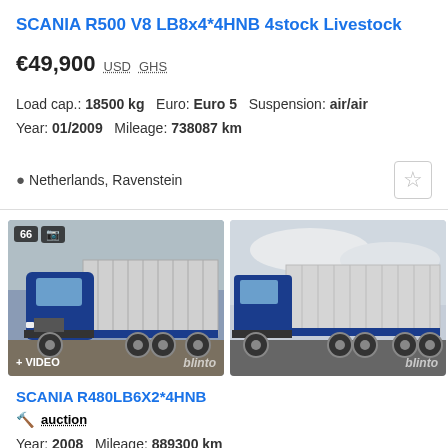SCANIA R500 V8 LB8x4*4HNB 4stock Livestock
€49,900  USD  GHS
Load cap.: 18500 kg  Euro: Euro 5  Suspension: air/air
Year: 01/2009  Mileage: 738087 km
Netherlands, Ravenstein
[Figure (photo): Blue Scania livestock truck, front-left view, with badge showing 66 photos and video label]
[Figure (photo): Blue Scania livestock truck, side profile view]
SCANIA R480LB6X2*4HNB
auction
Year: 2008  Mileage: 889300 km